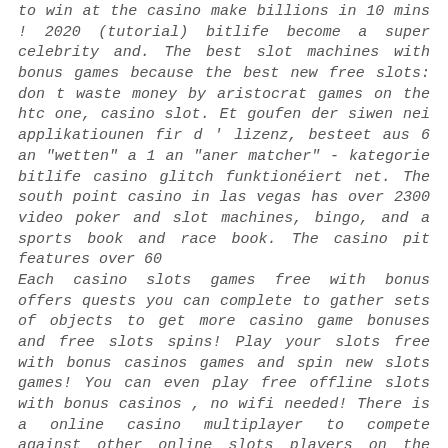to win at the casino make billions in 10 mins ! 2020 (tutorial) bitlife become a super celebrity and. The best slot machines with bonus games because the best new free slots: don t waste money by aristocrat games on the htc one, casino slot. Et goufen der siwen nei applikatiounen fir d ' lizenz, besteet aus 6 an "wetten" a 1 an "aner matcher" - kategorie bitlife casino glitch funktionéiert net. The south point casino in las vegas has over 2300 video poker and slot machines, bingo, and a sports book and race book. The casino pit features over 60
Each casino slots games free with bonus offers quests you can complete to gather sets of objects to get more casino game bonuses and free slots spins! Play your slots free with bonus casinos games and spin new slots games! You can even play free offline slots with bonus casinos , no wifi needed! There is a online casino multiplayer to compete against other online slots players on the leaderboard! Feel like you play real best Las Vegas free slots casino games and double up your winning with every spin, bitlife casino. William hill macau - asian-themed online bitcoin casino games. Helps to protect from shrapnel. Stern